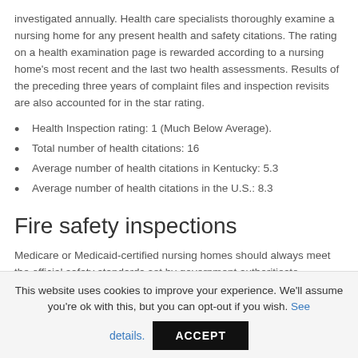investigated annually. Health care specialists thoroughly examine a nursing home for any present health and safety citations. The rating on a health examination page is rewarded according to a nursing home's most recent and the last two health assessments. Results of the preceding three years of complaint files and inspection revisits are also accounted for in the star rating.
Health Inspection rating: 1 (Much Below Average).
Total number of health citations: 16
Average number of health citations in Kentucky: 5.3
Average number of health citations in the U.S.: 8.3
Fire safety inspections
Medicare or Medicaid-certified nursing homes should always meet the official safety standards set by government authoritiesto
This website uses cookies to improve your experience. We'll assume you're ok with this, but you can opt-out if you wish. See details.